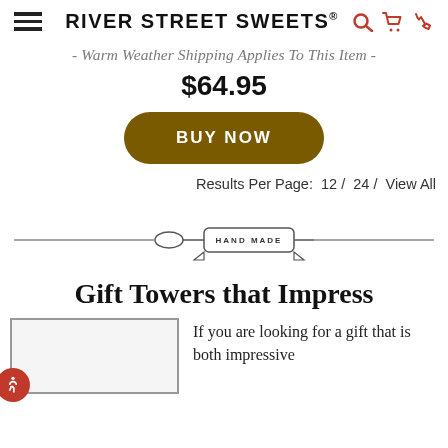RIVER STREET SWEETS®
- Warm Weather Shipping Applies To This Item -
$64.95
BUY NOW
Results Per Page:  12 /  24 /  View All
[Figure (illustration): Hand Made decorative divider with a wooden spoon and ribbon banner reading HAND MADE, flanked by horizontal lines]
Gift Towers that Impress
[Figure (photo): Partial image of a gift tower product, cropped at bottom of page]
If you are looking for a gift that is both impressive